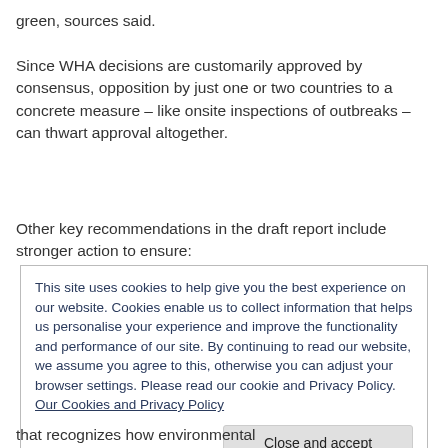green, sources said.
Since WHA decisions are customarily approved by consensus, opposition by just one or two countries to a concrete measure – like onsite inspections of outbreaks – can thwart approval altogether.
Other key recommendations in the draft report include stronger action to ensure:
This site uses cookies to help give you the best experience on our website. Cookies enable us to collect information that helps us personalise your experience and improve the functionality and performance of our site. By continuing to read our website, we assume you agree to this, otherwise you can adjust your browser settings. Please read our cookie and Privacy Policy. Our Cookies and Privacy Policy
Close and accept
that recognizes how environmental